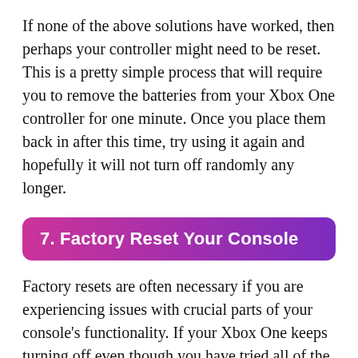If none of the above solutions have worked, then perhaps your controller might need to be reset. This is a pretty simple process that will require you to remove the batteries from your Xbox One controller for one minute. Once you place them back in after this time, try using it again and hopefully it will not turn off randomly any longer.
7. Factory Reset Your Console
Factory resets are often necessary if you are experiencing issues with crucial parts of your console's functionality. If your Xbox One keeps turning off even though you have tried all of the other fixes on this list, then there may be an underlying issue that needs to be